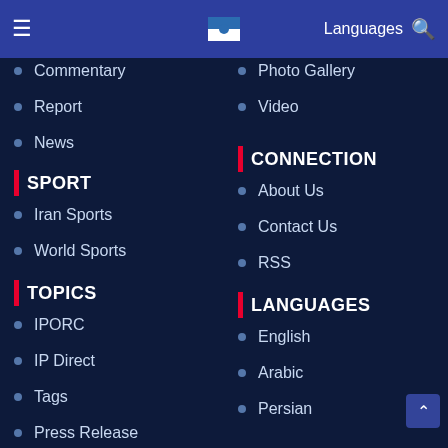Languages  [hamburger menu] [search icon]
Commentary
Photo Gallery
Report
Video
News
SPORT
CONNECTION
Iran Sports
About Us
World Sports
Contact Us
RSS
TOPICS
LANGUAGES
IPORC
English
IP Direct
Arabic
Tags
Persian
Press Release